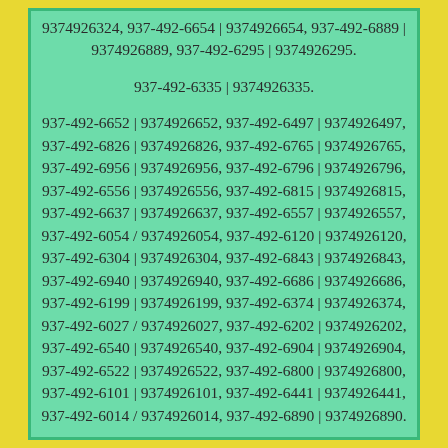9374926324, 937-492-6654 | 9374926654, 937-492-6889 | 9374926889, 937-492-6295 | 9374926295.
937-492-6335 | 9374926335.
937-492-6652 | 9374926652, 937-492-6497 | 9374926497, 937-492-6826 | 9374926826, 937-492-6765 | 9374926765, 937-492-6956 | 9374926956, 937-492-6796 | 9374926796, 937-492-6556 | 9374926556, 937-492-6815 | 9374926815, 937-492-6637 | 9374926637, 937-492-6557 | 9374926557, 937-492-6054 / 9374926054, 937-492-6120 | 9374926120, 937-492-6304 | 9374926304, 937-492-6843 | 9374926843, 937-492-6940 | 9374926940, 937-492-6686 | 9374926686, 937-492-6199 | 9374926199, 937-492-6374 | 9374926374, 937-492-6027 / 9374926027, 937-492-6202 | 9374926202, 937-492-6540 | 9374926540, 937-492-6904 | 9374926904, 937-492-6522 | 9374926522, 937-492-6800 | 9374926800, 937-492-6101 | 9374926101, 937-492-6441 | 9374926441, 937-492-6014 / 9374926014, 937-492-6890 | 9374926890.